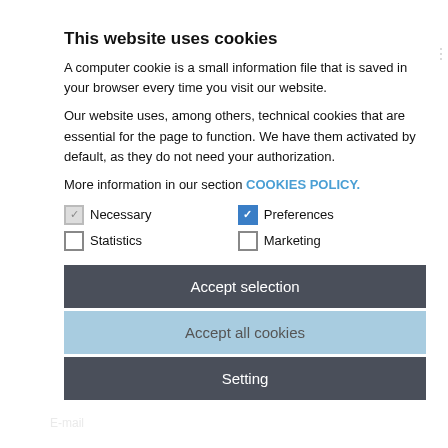This website uses cookies
A computer cookie is a small information file that is saved in your browser every time you visit our website.
Our website uses, among others, technical cookies that are essential for the page to function. We have them activated by default, as they do not need your authorization.
More information in our section COOKIES POLICY.
Necessary (checked/greyed)
Preferences (checked/blue)
Statistics (unchecked)
Marketing (unchecked)
Accept selection
Accept all cookies
Setting